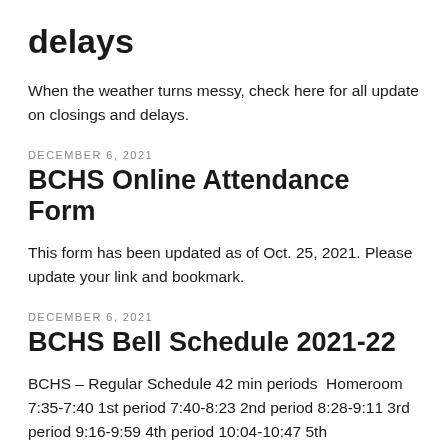delays
When the weather turns messy, check here for all update on closings and delays.
DECEMBER 6, 2021
BCHS Online Attendance Form
This form has been updated as of Oct. 25, 2021. Please update your link and bookmark.
DECEMBER 6, 2021
BCHS Bell Schedule 2021-22
BCHS – Regular Schedule 42 min periods  Homeroom 7:35-7:40 1st period 7:40-8:23 2nd period 8:28-9:11 3rd period 9:16-9:59 4th period 10:04-10:47 5th